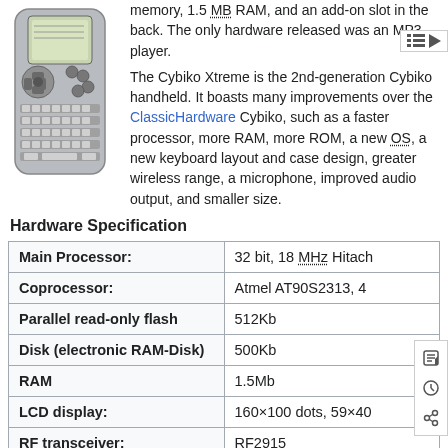[Figure (photo): Photo of Cybiko Xtreme handheld device, showing front face with small screen, directional pad, and QWERTY keyboard]
memory, 1.5 MB RAM, and an add-on slot in the back. The only hardware released was an MP3 player.
The Cybiko Xtreme is the 2nd-generation Cybiko handheld. It boasts many improvements over the ClassicHardware Cybiko, such as a faster processor, more RAM, more ROM, a new OS, a new keyboard layout and case design, greater wireless range, a microphone, improved audio output, and smaller size.
Hardware Specification
| Specification | Value |
| --- | --- |
| Main Processor: | 32 bit, 18 MHz Hitach |
| Coprocessor: | Atmel AT90S2313, 4 |
| Parallel read-only flash | 512Kb |
| Disk (electronic RAM-Disk) | 500Kb |
| RAM | 1.5Mb |
| LCD display: | 160×100 dots, 59×40 |
| RF transceiver: | RF2915 |